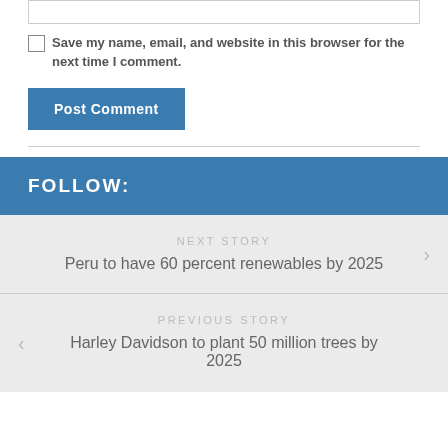[Figure (screenshot): A partially visible text input box (comment field) at the top of the page]
Save my name, email, and website in this browser for the next time I comment.
Post Comment
FOLLOW:
NEXT STORY
Peru to have 60 percent renewables by 2025
PREVIOUS STORY
Harley Davidson to plant 50 million trees by 2025